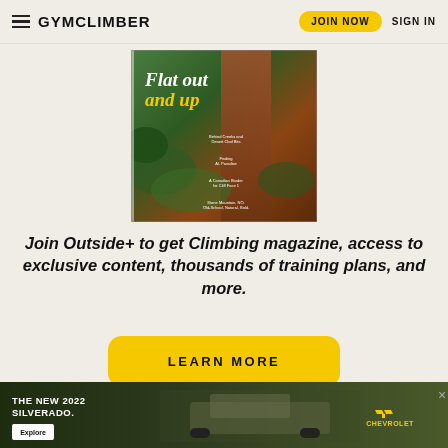GYMCLIMBER | JOIN NOW | SIGN IN
[Figure (photo): Magazine cover showing aerial view of a rock climber, titled 'Flat out and up' with subtitle text in yellow and white]
Join Outside+ to get Climbing magazine, access to exclusive content, thousands of training plans, and more.
LEARN MORE
[Figure (photo): Advertisement banner for The New 2022 Silverado by Chevrolet, with an Explore button and truck image on dark green background]